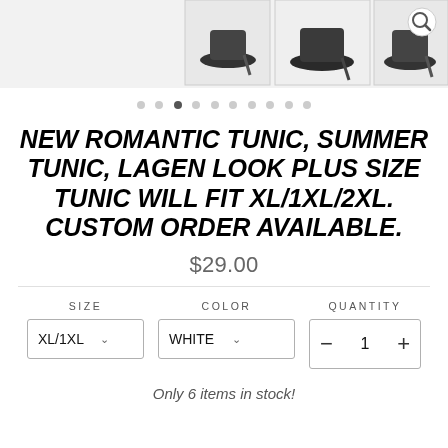[Figure (photo): Product image strip showing high heel shoes (pumps) from multiple angles, with a magnify icon on the right side]
NEW ROMANTIC TUNIC, SUMMER TUNIC, LAGEN LOOK PLUS SIZE TUNIC WILL FIT XL/1XL/2XL. CUSTOM ORDER AVAILABLE.
$29.00
SIZE: XL/1XL | COLOR: WHITE | QUANTITY: 1
Only 6 items in stock!